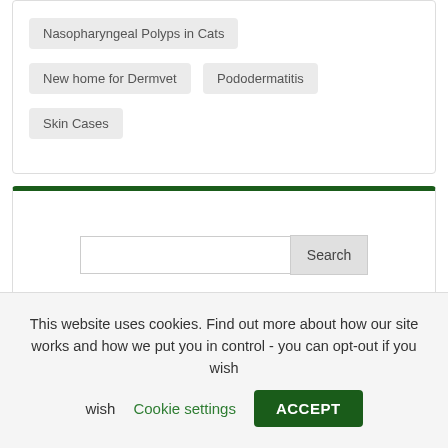Nasopharyngeal Polyps in Cats
New home for Dermvet
Pododermatitis
Skin Cases
Search
This website uses cookies. Find out more about how our site works and how we put you in control - you can opt-out if you wish
Cookie settings
ACCEPT